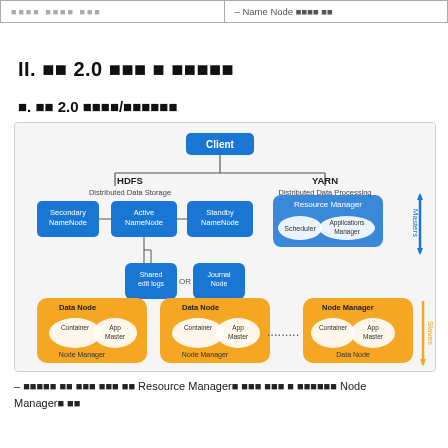| (Korean text) | – Name Node (Korean text) |
| --- | --- |
II. (Korean) 2.0 (Korean) (Korean) (Korean)
(Korean). (Korean) 2.0 (Korean)/(Korean)
[Figure (engineering-diagram): Hadoop 2.0 architecture diagram showing HDFS (Distributed Data Storage) with Secondary NameNode, Active NameNode, Standby NameNode, Shared edit logs, Journal Node; and YARN (Distributed Data Processing) with Resource Manager (Scheduler, Applications Manager). Below are Data Nodes with Container and App Master under Node Manager, connected to Node Manager with Container and App Master above Data Node. Masters and Slaves labels on right side with arrows.]
– (Korean text) Resource Manager (Korean text) Node Manager (Korean text)